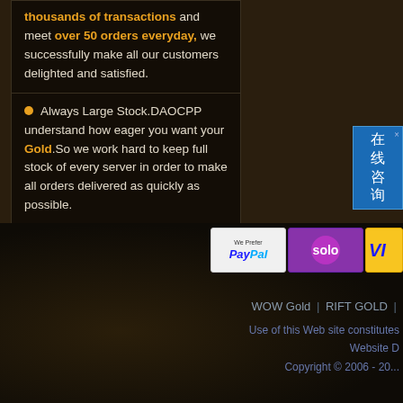thousands of transactions and meet over 50 orders everyday, we successfully make all our customers delighted and satisfied.
Always Large Stock.DAOCPP understand how eager you want your Gold.So we work hard to keep full stock of every server in order to make all orders delivered as quickly as possible.
DAOCPP offer excellent customer service.We serve you 24/7 on live chat.
[Figure (other): Chinese online chat widget with text 在线咨询 (online consultation) on blue background]
[Figure (other): Payment method icons: PayPal (We Prefer), Solo card logo (purple), Visa card logo (partial)]
WOW Gold | RIFT GOLD |
Use of this Web site constitutes
Website D
Copyright © 2006 - 20...